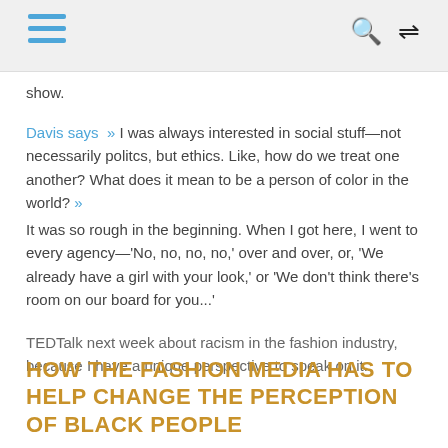[hamburger menu icon] [search icon] [shuffle icon]
show.
Davis says  » I was always interested in social stuff—not necessarily politcs, but ethics. Like, how do we treat one another? What does it mean to be a person of color in the world? »
It was so rough in the beginning. When I got here, I went to every agency—'No, no, no, no,' over and over, or, 'We already have a girl with your look,' or 'We don't think there's room on our board for you...'
TEDTalk next week about racism in the fashion industry, because I have a unique perspective to speak on it.
HOW THE FASHION MEDIA HAS TO HELP CHANGE THE PERCEPTION OF BLACK PEOPLE